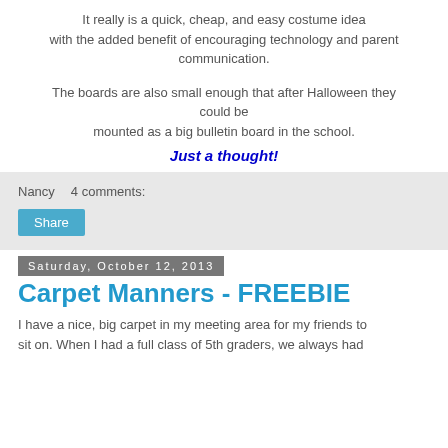It really is a quick, cheap, and easy costume idea with the added benefit of encouraging technology and parent communication.
The boards are also small enough that after Halloween they could be mounted as a big bulletin board in the school.
Just a thought!
Nancy   4 comments:
Share
Saturday, October 12, 2013
Carpet Manners - FREEBIE
I have a nice, big carpet in my meeting area for my friends to sit on. When I had a full class of 5th graders, we always had